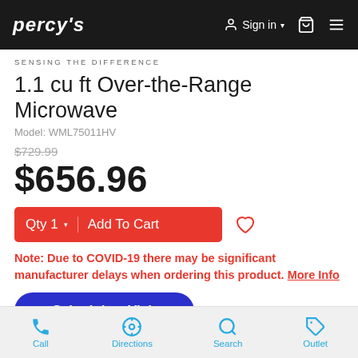PERCY'S | Sign in | Cart | Menu
SENSING THE DIFFERENCE
1.1 cu ft Over-the-Range Microwave
Model: WML75011HV
$729.99
$656.96
Qty 1  Add To Cart
Note: Due to COVID-19 there may be significant manufacturer delays when ordering this product. More Info
Schedule a Visit
Call | Directions | Search | Outlet